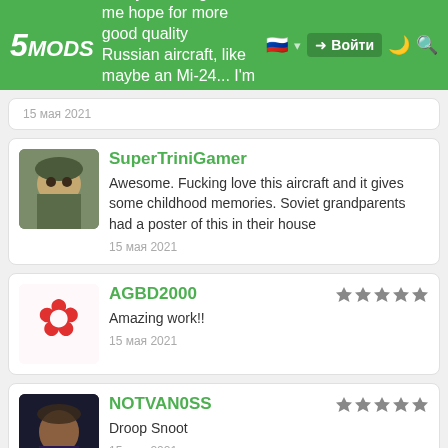5MODS navigation bar — Pretty sweet, gives me hope for more good quality Russian aircraft, like maybe an Mi-24... I'm Just sayin — Войти
15 мая 2021
SuperTriniGamer — Awesome. Fucking love this aircraft and it gives some childhood memories. Soviet grandparents had a poster of this in their house — 15 мая 2021
AGBD2000 — ★★★★★ — Amazing work!! — 15 мая 2021
NOTVAN0SS — ★★★★★ — Droop Snoot — 15 мая 2021
Lieutenant General